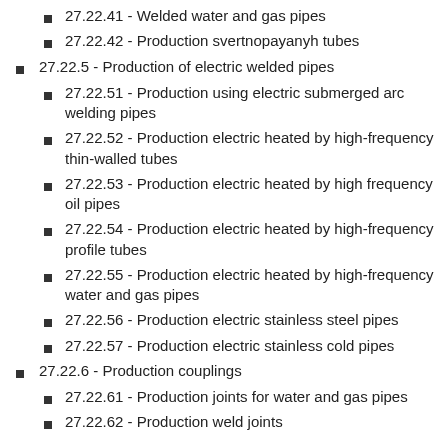27.22.41 - Welded water and gas pipes
27.22.42 - Production svertnopayanyh tubes
27.22.5 - Production of electric welded pipes
27.22.51 - Production using electric submerged arc welding pipes
27.22.52 - Production electric heated by high-frequency thin-walled tubes
27.22.53 - Production electric heated by high frequency oil pipes
27.22.54 - Production electric heated by high-frequency profile tubes
27.22.55 - Production electric heated by high-frequency water and gas pipes
27.22.56 - Production electric stainless steel pipes
27.22.57 - Production electric stainless cold pipes
27.22.6 - Production couplings
27.22.61 - Production joints for water and gas pipes
27.22.62 - Production weld joints